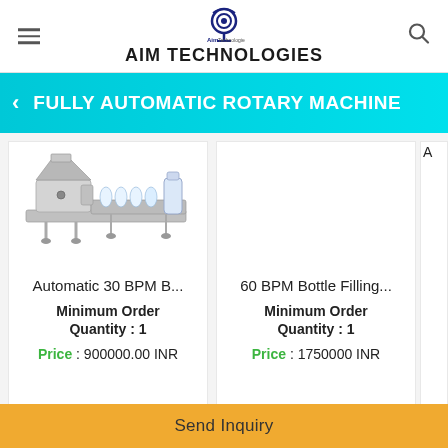AIM TECHNOLOGIES
FULLY AUTOMATIC ROTARY MACHINE
[Figure (photo): Industrial automatic bottle filling and packaging machine, silver/metallic, side view]
Automatic 30 BPM B...
Minimum Order Quantity : 1
Price : 900000.00 INR
60 BPM Bottle Filling...
Minimum Order Quantity : 1
Price : 1750000 INR
A
Send Inquiry